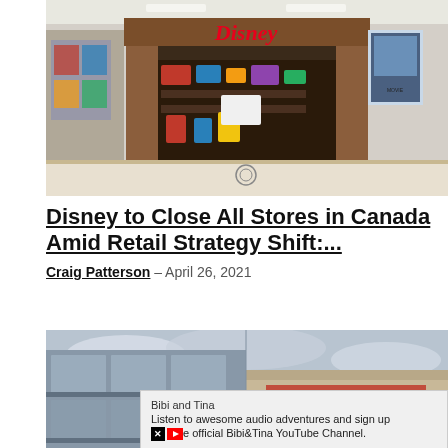[Figure (photo): Disney Store storefront in a shopping mall, showing the red Disney logo above a wood-framed entrance with merchandise visible inside and a movie poster display on the right.]
Disney to Close All Stores in Canada Amid Retail Strategy Shift:...
Craig Patterson – April 26, 2021
[Figure (photo): Exterior of a large retail store building with a cloudy sky background, partially showing signage.]
Bibi and Tina
Listen to awesome audio adventures and sign up
e official Bibi&Tina YouTube Channel.